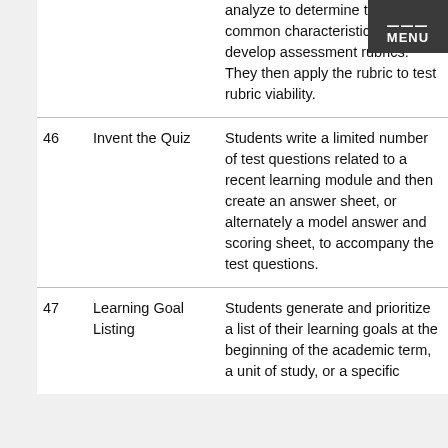| # | Name | Description |
| --- | --- | --- |
|  |  | analyze to determine the common characteristics and develop assessment rubrics. They then apply the rubric to test rubric viability. |
| 46 | Invent the Quiz | Students write a limited number of test questions related to a recent learning module and then create an answer sheet, or alternately a model answer and scoring sheet, to accompany the test questions. |
| 47 | Learning Goal Listing | Students generate and prioritize a list of their learning goals at the beginning of the academic term, a unit of study, or a specific |